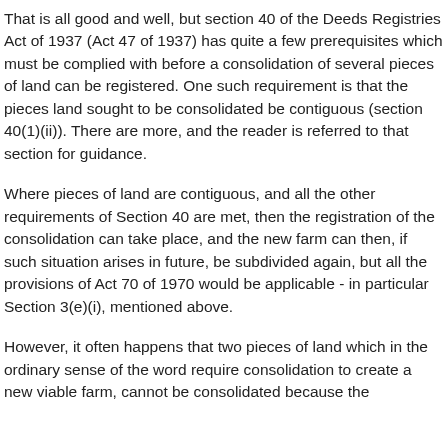That is all good and well, but section 40 of the Deeds Registries Act of 1937 (Act 47 of 1937) has quite a few prerequisites which must be complied with before a consolidation of several pieces of land can be registered. One such requirement is that the pieces land sought to be consolidated be contiguous (section 40(1)(ii)). There are more, and the reader is referred to that section for guidance.
Where pieces of land are contiguous, and all the other requirements of Section 40 are met, then the registration of the consolidation can take place, and the new farm can then, if such situation arises in future, be subdivided again, but all the provisions of Act 70 of 1970 would be applicable - in particular Section 3(e)(i), mentioned above.
However, it often happens that two pieces of land which in the ordinary sense of the word require consolidation to create a new viable farm, cannot be consolidated because the